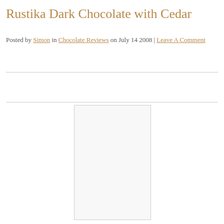Rustika Dark Chocolate with Cedar
Posted by Simon in Chocolate Reviews on July 14 2008 | Leave A Comment
[Figure (photo): Image placeholder for Rustika Dark Chocolate with Cedar product photo]